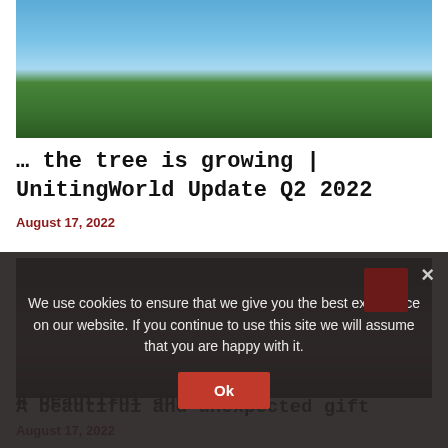[Figure (photo): Photo of palm trees with blue sky visible through the fronds, viewed from below]
… the tree is growing | UnitingWorld Update Q2 2022
August 17, 2022
[Figure (photo): Interior of a large industrial or public building with high ceilings, columns, and large windows with artwork on them]
A beautiful and unexpected gift
August 17, 2022
We use cookies to ensure that we give you the best experience on our website. If you continue to use this site we will assume that you are happy with it.